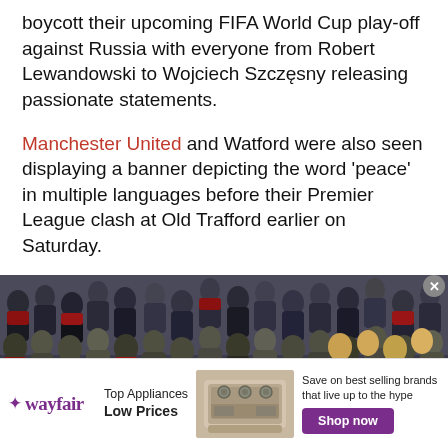boycott their upcoming FIFA World Cup play-off against Russia with everyone from Robert Lewandowski to Wojciech Szczęsny releasing passionate statements.
Manchester United and Watford were also seen displaying a banner depicting the word 'peace' in multiple languages before their Premier League clash at Old Trafford earlier on Saturday.
[Figure (photo): A crowd of football fans in stadium stands, with several people in the foreground holding up a blue and yellow Ukrainian flag.]
[Figure (infographic): Wayfair advertisement banner: 'Top Appliances Low Prices' with image of a stove/range and text 'Save on best selling brands that live up to the hype' with purple 'Shop now' button.]